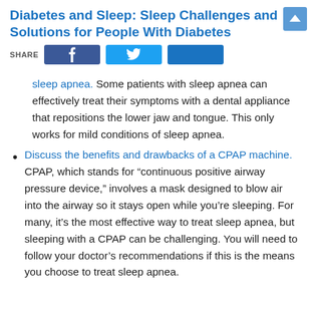Diabetes and Sleep: Sleep Challenges and Solutions for People With Diabetes
sleep apnea. Some patients with sleep apnea can effectively treat their symptoms with a dental appliance that repositions the lower jaw and tongue. This only works for mild conditions of sleep apnea.
Discuss the benefits and drawbacks of a CPAP machine. CPAP, which stands for “continuous positive airway pressure device,” involves a mask designed to blow air into the airway so it stays open while you’re sleeping. For many, it’s the most effective way to treat sleep apnea, but sleeping with a CPAP can be challenging. You will need to follow your doctor’s recommendations if this is the means you choose to treat sleep apnea.